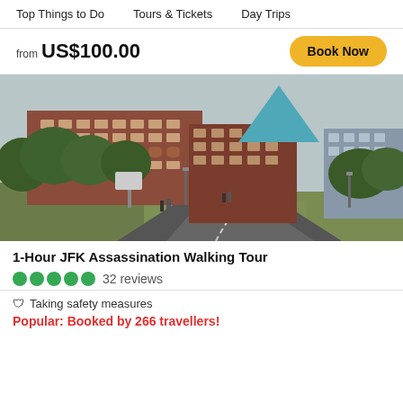Top Things to Do   Tours & Tickets   Day Trips
from US$100.00
Book Now
[Figure (photo): Outdoor street-level photo of Dealey Plaza in Dallas, TX, showing the Texas School Book Depository (red brick building) and surrounding greenery with a curved road in the foreground.]
1-Hour JFK Assassination Walking Tour
32 reviews
Taking safety measures
Popular: Booked by 266 travellers!